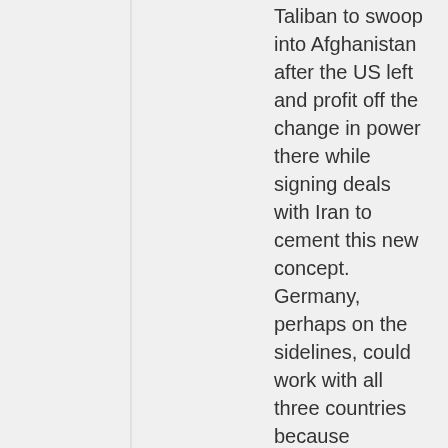Taliban to swoop into Afghanistan after the US left and profit off the change in power there while signing deals with Iran to cement this new concept.
Germany, perhaps on the sidelines, could work with all three countries because Germany has long wanted more partnerships with Iran.
https://www.jpost.com/business-and-innovation/energy-and-infrastructure/article-697041
Reply ↓